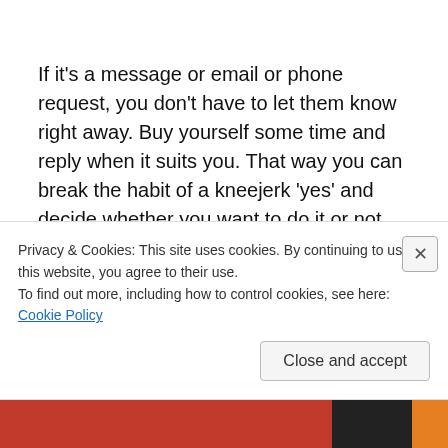If it's a message or email or phone request, you don't have to let them know right away. Buy yourself some time and reply when it suits you. That way you can break the habit of a kneejerk 'yes' and decide whether you want to do it or not.
Maybe compromise
Compromising with a request is possible. Maybe you can
Privacy & Cookies: This site uses cookies. By continuing to use this website, you agree to their use.
To find out more, including how to control cookies, see here: Cookie Policy